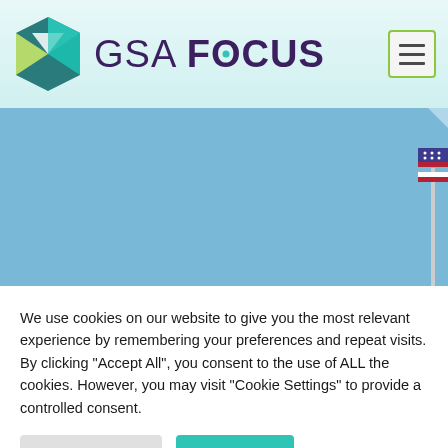[Figure (logo): GSA Focus logo with hexagonal icon and text 'GSA FOCUS' and hamburger menu button]
[Figure (photo): Blue banner image with a partial American flag visible at the right edge]
We use cookies on our website to give you the most relevant experience by remembering your preferences and repeat visits. By clicking "Accept All", you consent to the use of ALL the cookies. However, you may visit "Cookie Settings" to provide a controlled consent.
Cookie Settings | Accept All